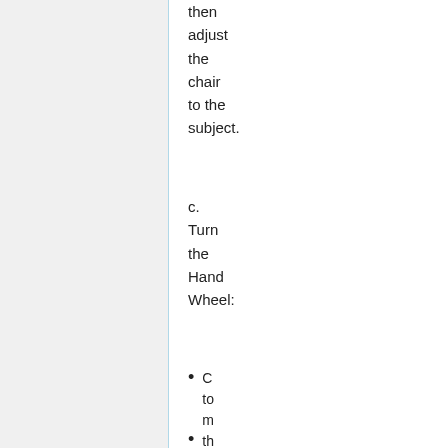then adjust the chair to the subject.
c. Turn the Hand Wheel:
Clockwise to move the chair up
(bullet item continues off page)